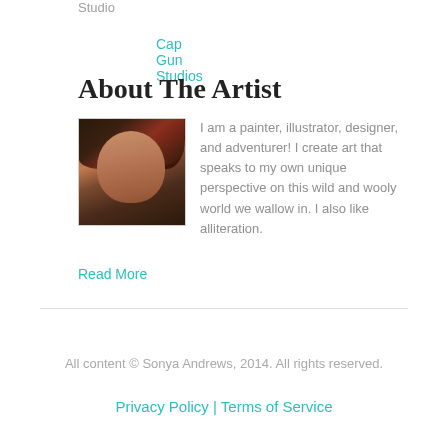Studio
Cap Gun Studios
About The Artist
[Figure (photo): Headshot photo of a woman with short dark hair with reddish highlights, looking directly at the camera]
I am a painter, illustrator, designer, and adventurer! I create art that speaks to my own unique perspective on this wild and wooly world we wallow in. I also like alliteration.
Read More
All content © Sonya Andrews, 2014. All rights reserved.
Privacy Policy | Terms of Service